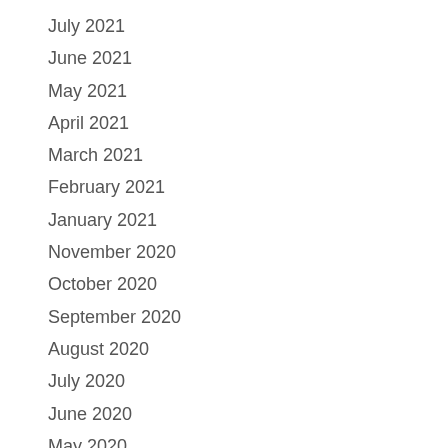July 2021
June 2021
May 2021
April 2021
March 2021
February 2021
January 2021
November 2020
October 2020
September 2020
August 2020
July 2020
June 2020
May 2020
April 2020